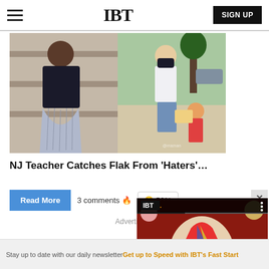IBT
[Figure (photo): Composite image showing a woman in a black top and blue pleated skirt (left) and a woman wearing a white shirt and face mask helping a child outdoors (right). News article illustration for NJ teacher story.]
NJ Teacher Catches Flak From 'Haters'…
Read More
3 comments 🔥
😟 52%
[Figure (screenshot): IBT video overlay card showing a colorful face-painted person resembling David Bowie against a background with planets, titled 'NewSpiderGenus,Se…' with a progress bar at top.]
Advertise
Stay up to date with our daily newsletter
Get up to Speed with IBT's Fast Start